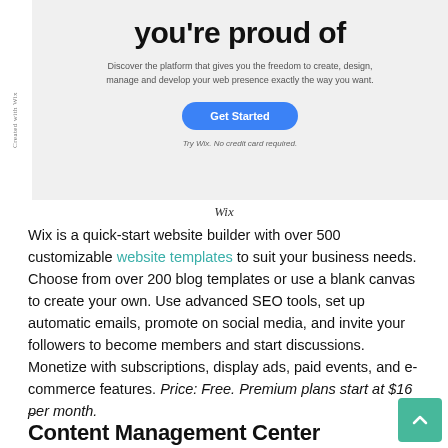[Figure (screenshot): Screenshot of Wix website builder homepage showing the hero section with the text 'you're proud of', a subtitle about the platform, a blue 'Get Started' button, and 'Try Wix. No credit card required.' text on a light gray background. A vertical 'Created with Wix' label appears on the left sidebar.]
Wix
Wix is a quick-start website builder with over 500 customizable website templates to suit your business needs. Choose from over 200 blog templates or use a blank canvas to create your own. Use advanced SEO tools, set up automatic emails, promote on social media, and invite your followers to become members and start discussions. Monetize with subscriptions, display ads, paid events, and e-commerce features. Price: Free. Premium plans start at $16 per month.
–
Content Management Center